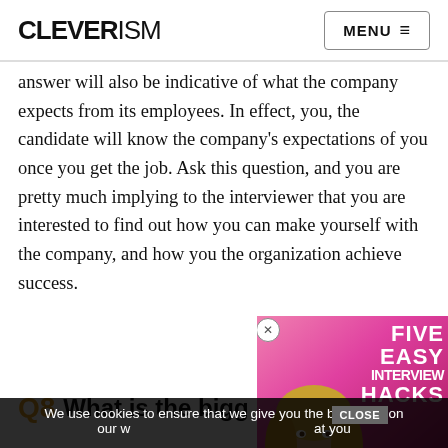CLEVERISM | MENU ≡
answer will also be indicative of what the company expects from its employees. In effect, you, the candidate will know the company's expectations of you once you get the job. Ask this question, and you are pretty much implying to the interviewer that you are interested to find out how you can make yourself [useful] with the company, and how you[r work can help] the organization achieve succ[ess].
Q8 What is the bigg...
[Figure (screenshot): Video ad overlay showing a woman with blonde hair and text 'FIVE EASY INTERVIEW HACKS' on a pink background, with a close button.]
We use cookies to ensure that we give you the best e[xperien]ce on our w[ebsite. If you continue to use this site we will assume th]at you
Buy Bitcoin With Cash
CoinFlip Bitcoin ATM